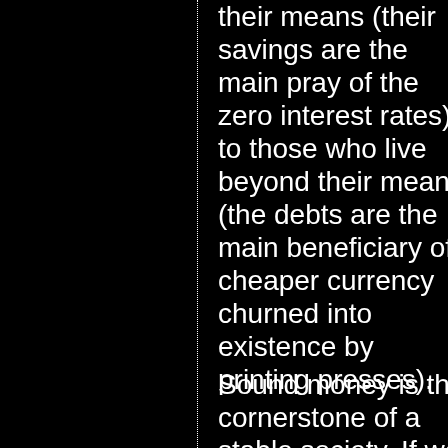their means (their savings are the main pray of the zero interest rates) to those who live beyond their means (the debts are the main beneficiary of cheaper currency churned into existence by printing presses).
Sound money is the cornerstone of a stable society. If we are to systematically build our personal wealth